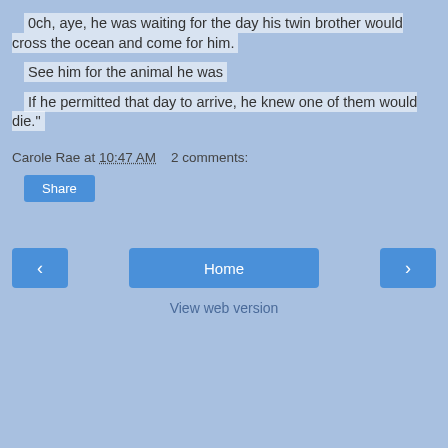0ch, aye, he was waiting for the day his twin brother would cross the ocean and come for him.
See him for the animal he was
If he permitted that day to arrive, he knew one of them would die."
Carole Rae at 10:47 AM   2 comments:
Share
Home
View web version